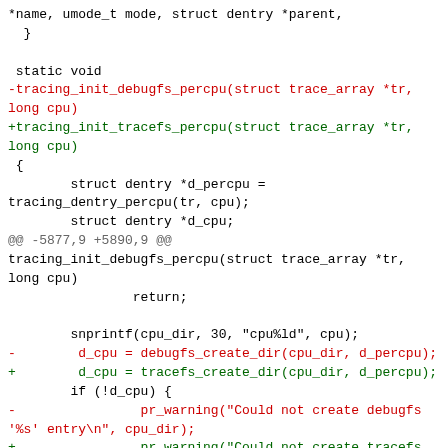*name, umode_t mode, struct dentry *parent,
  }

 static void
-tracing_init_debugfs_percpu(struct trace_array *tr,
long cpu)
+tracing_init_tracefs_percpu(struct trace_array *tr,
long cpu)
 {
         struct dentry *d_percpu =
tracing_dentry_percpu(tr, cpu);
         struct dentry *d_cpu;
@@ -5877,9 +5890,9 @@
tracing_init_debugfs_percpu(struct trace_array *tr,
long cpu)
                 return;

         snprintf(cpu_dir, 30, "cpu%ld", cpu);
-         d_cpu = debugfs_create_dir(cpu_dir, d_percpu);
+         d_cpu = tracefs_create_dir(cpu_dir, d_percpu);
         if (!d_cpu) {
-                 pr_warning("Could not create debugfs
'%s' entry\n", cpu_dir);
+                 pr_warning("Could not create tracefs
'%s' entry\n", cpu_dir);
                 return;
         }

@@ -6031,9 +6044,9 @@ struct dentry
*trace_create_file(const char *name,